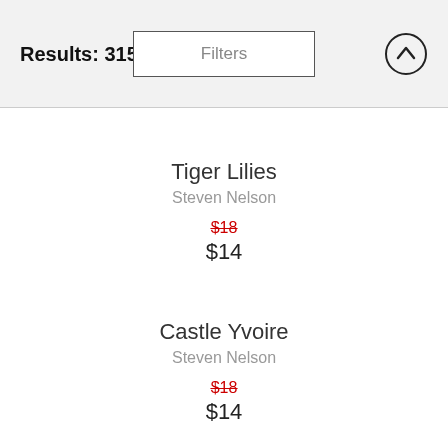Results: 315
Filters
Tiger Lilies
Steven Nelson
$18 (strikethrough) $14
Castle Yvoire
Steven Nelson
$18 (strikethrough) $14